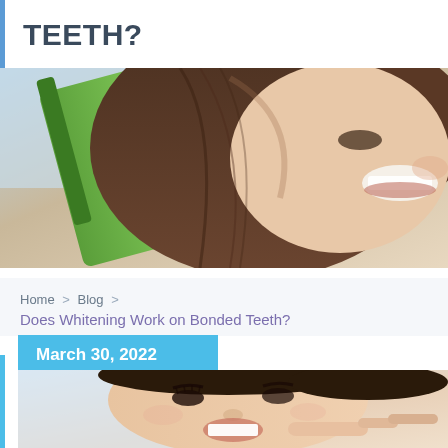TEETH?
[Figure (photo): Close-up of a woman smiling at a dental clinic, holding a green dental instrument, long brown hair visible]
Home > Blog > Does Whitening Work on Bonded Teeth?
March 30, 2022
[Figure (photo): Woman smiling and pointing at her white teeth with her finger]